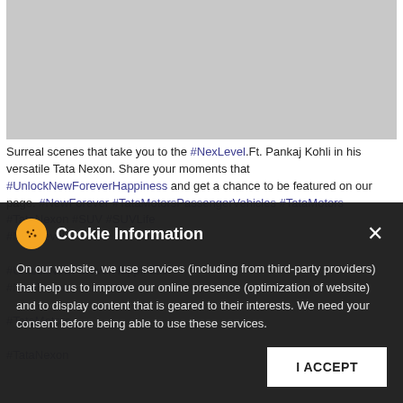[Figure (photo): Gray placeholder image area representing a social media post image (Tata Nexon car photo)]
Surreal scenes that take you to the #NexLevel.Ft. Pankaj Kohli in his versatile Tata Nexon. Share your moments that #UnlockNewForeverHappiness and get a chance to be featured on our page. #NewForever #TataMotorsPassengerVehicles #TataMotors #TataNexon #SUV #SUVLife #NextLevel #UnlockNewForeverHappiness #NewForever #TataMotors #TataNexon
Cookie Information
On our website, we use services (including from third-party providers) that help us to improve our online presence (optimization of website) and to display content that is geared to their interests. We need your consent before being able to use these services.